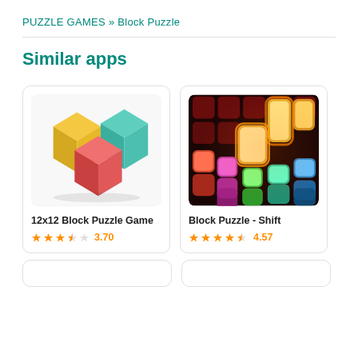PUZZLE GAMES » Block Puzzle
Similar apps
[Figure (screenshot): App card for 12x12 Block Puzzle Game showing colorful 3D blocks (yellow, teal, pink) on white background, rating 3.70 stars]
[Figure (screenshot): App card for Block Puzzle - Shift showing glowing neon colored blocks on dark red/black background, rating 4.57 stars]